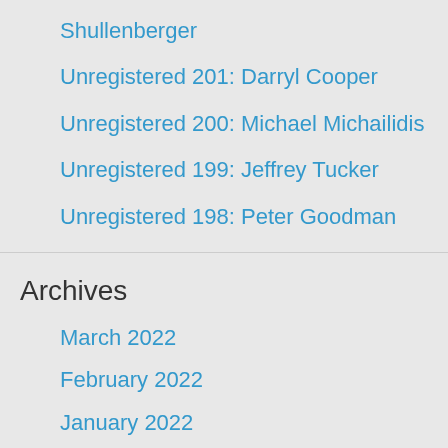Shullenberger
Unregistered 201: Darryl Cooper
Unregistered 200: Michael Michailidis
Unregistered 199: Jeffrey Tucker
Unregistered 198: Peter Goodman
Archives
March 2022
February 2022
January 2022
December 2021
November 2021
October 2021